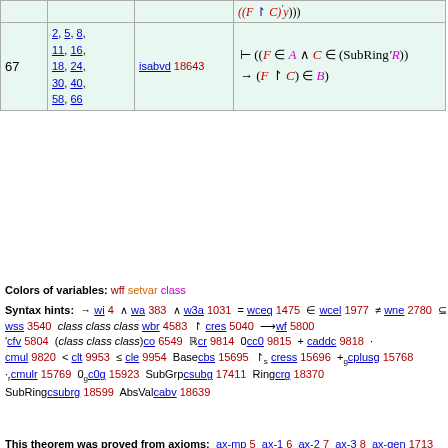|  |  |  |  |
| --- | --- | --- | --- |
| 67 | 2, 5, 8, 11, 16, 18, 24, 30, 40, 58, 66 | isabvd 18643 | ⊢ ((F ∈ A ∧ C ∈ (SubRing'R)) → (F ↾ C) ∈ B) |
Colors of variables: wff setvar class
Syntax hints: → wi 4 ∧ wa 383 ∧ w3a 1031 = wceq 1475 ∈ wcel 1977 ≠ wne 2780 ⊆ wss 3540 class class class wbr 4583 ↾ cres 5040 ⟶ wf 5800 'cfv 5804 (class class class)co 6549 Rcr 9814 0cc0 9815 + caddc 9818 · cmul 9820 < clt 9953 ≤ cle 9954 Basecbs 15695 ↾s cress 15696 +g cplusg 15768 ·r cmulr 15769 0g c0g 15923 SubGrpcsubg 17411 Ringcrg 18370 SubRingcsubrg 18599 AbsValcabv 18639
This theorem was proved from axioms: ax-mp 5 ax-1 6 ax-2 7 ax-3 8 ax-gen 1713 ax-4 1728 ax-5 1827 ax-6 1875 ax-7 1922 ax-8 1979 ax-9 1986 ax-10 2006 ax-11 2021 ax-12 2034 ax-13 2234 ax-ext 2590 ax-rep 4699 ax-sep 4709 ax-nul 4717 ax-pow 4769 ax-pr 4833 ax-un 6847 ax-cnex 9871 ax-resscn 9872 ax-1cn 9873 ax-icn 9874 ax-addcl 9875 ax-addrcl 9876 ax-mulcl 9877 ax-mulrcl 9878 ax-mulcom 9879 ax-addass 9880 ax-mulass 9881 ax-distr 9882 ax-i2m1 9883 ax-1ne0 9884 ax-1rid 9885 ax-rnegex 9886 ax-rrecex 9887 ax-cnre 9888 ax-pre-lttri 9889 ax-pre-lttrn 9890 ax-pre-ltadd 9891 ax-pre-mulgt0 9892
This theorem depends on definitions: df-bi 196 df-or 384 df-an 385 df-3or 1032 df-3an 1033 df-tru 1478 df-ex 1696 df-nf 1701 df-sb 1868 df-eu 2462 df-mo 2463 df-clab 2597 df-cleq 2603 df-clel 2606 df-nfc 2740 df-ne 2782 df-nel 2783 df-ral 2901 df-rex 2902 df-reu 2903 df-rmo 2904 df-rab 2905 df-v 3175 df-sbc 3403